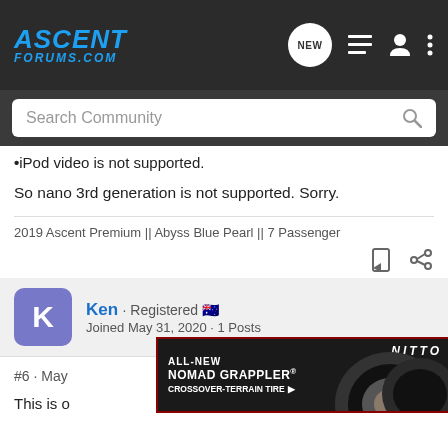ASCENT FORUMS.COM
Search Community
•iPod video is not supported.
So nano 3rd generation is not supported. Sorry.
2019 Ascent Premium || Abyss Blue Pearl || 7 Passenger
Ken · Registered
Joined May 31, 2020 · 1 Posts
#6 · May
This is o
[Figure (screenshot): Nitto Nomad Grappler Crossover-Terrain Tire advertisement banner with tire image]